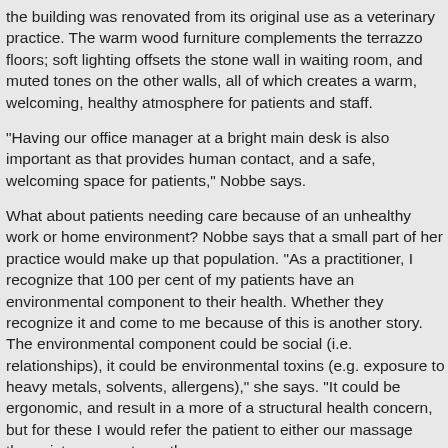the building was renovated from its original use as a veterinary practice. The warm wood furniture complements the terrazzo floors; soft lighting offsets the stone wall in waiting room, and muted tones on the other walls, all of which creates a warm, welcoming, healthy atmosphere for patients and staff.
"Having our office manager at a bright main desk is also important as that provides human contact, and a safe, welcoming space for patients," Nobbe says.
What about patients needing care because of an unhealthy work or home environment? Nobbe says that a small part of her practice would make up that population. "As a practitioner, I recognize that 100 per cent of my patients have an environmental component to their health. Whether they recognize it and come to me because of this is another story. The environmental component could be social (i.e. relationships), it could be environmental toxins (e.g. exposure to heavy metals, solvents, allergens)," she says. "It could be ergonomic, and result in a more of a structural health concern, but for these I would refer the patient to either our massage therapist or our osteopath.